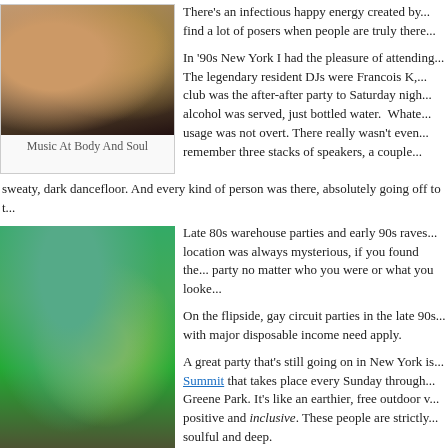[Figure (photo): Crowd of people at a music event, arms raised, energetic atmosphere]
Music At Body And Soul
There's an infectious happy energy created by... find a lot of posers when people are truly there...
In '90s New York I had the pleasure of attending... The legendary resident DJs were Francois K,... club was the after-after party to Saturday night... alcohol was served, just bottled water. Whatever usage was not overt. There really wasn't even... remember three stacks of speakers, a couple... sweaty, dark dancefloor. And every kind of person was there, absolutely going off to t...
[Figure (photo): Outdoor crowd gathering among trees, people dancing and celebrating]
Late 80s warehouse parties and early 90s raves... location was always mysterious, if you found the... party no matter who you were or what you looke...
On the flipside, gay circuit parties in the late 90s... with major disposable income need apply.
A great party that's still going on in New York is... Summit that takes place every Sunday through... Greene Park. It's like an earthier, free outdoor v... positive and inclusive. These people are strictly... soulful and deep.
Toronto has its own outdoor sound system on s... free, the roster of guest DJs rotates, and you m... freestyle to funk to hardcore in one evening. It o... around a bit but generally stays near Cherry Bea...